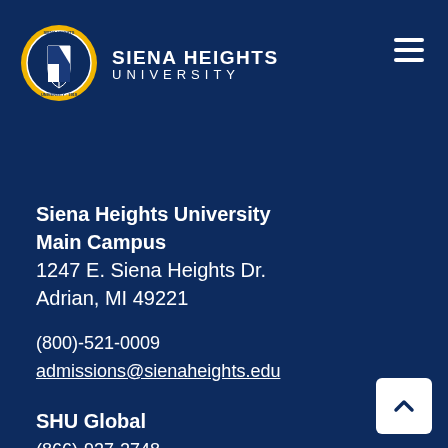[Figure (logo): Siena Heights University circular seal/crest logo in gold and blue with year 1919]
SIENA HEIGHTS UNIVERSITY
Siena Heights University
Main Campus
1247 E. Siena Heights Dr.
Adrian, MI 49221
(800)-521-0009
admissions@sienaheights.edu
SHU Global
(866)-937-2748
SHUGlobal@sienaheights.edu